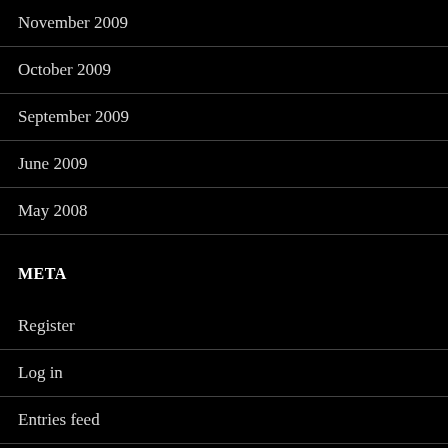November 2009
October 2009
September 2009
June 2009
May 2008
META
Register
Log in
Entries feed
Comments feed
WordPress.org